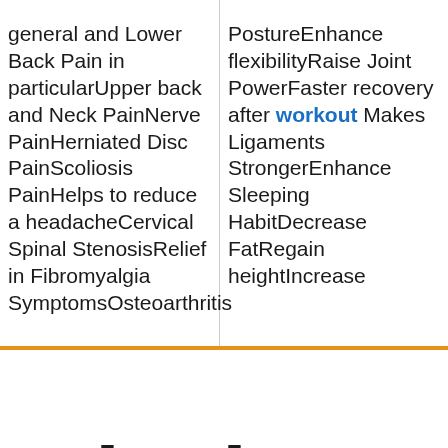general and Lower Back Pain in particularUpper back and Neck PainNerve PainHerniated Disc PainScoliosis PainHelps to reduce a headacheCervical Spinal StenosisRelief in Fibromyalgia SymptomsOsteoarthritis
PostureEnhance flexibilityRaise Joint PowerFaster recovery after workout Makes Ligaments StrongerEnhance Sleeping HabitDecrease FatRegain heightIncrease
nclusive Heavy D